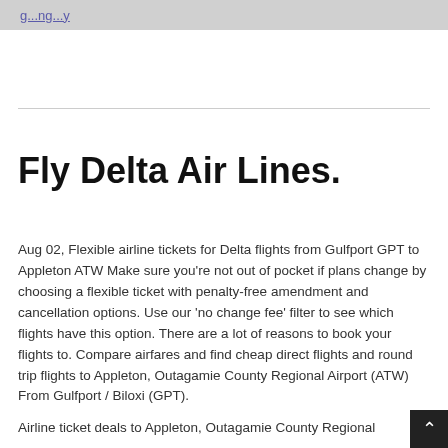g...ng...y
Fly Delta Air Lines.
Aug 02, Flexible airline tickets for Delta flights from Gulfport GPT to Appleton ATW Make sure you're not out of pocket if plans change by choosing a flexible ticket with penalty-free amendment and cancellation options. Use our 'no change fee' filter to see which flights have this option. There are a lot of reasons to book your flights to. Compare airfares and find cheap direct flights and round trip flights to Appleton, Outagamie County Regional Airport (ATW) From Gulfport / Biloxi (GPT).
Airline ticket deals to Appleton, Outagamie County Regional